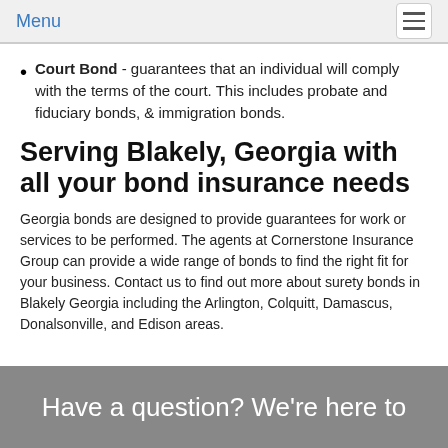Menu
Court Bond - guarantees that an individual will comply with the terms of the court. This includes probate and fiduciary bonds, & immigration bonds.
Serving Blakely, Georgia with all your bond insurance needs
Georgia bonds are designed to provide guarantees for work or services to be performed. The agents at Cornerstone Insurance Group can provide a wide range of bonds to find the right fit for your business. Contact us to find out more about surety bonds in Blakely Georgia including the Arlington, Colquitt, Damascus, Donalsonville, and Edison areas.
Have a question? We're here to